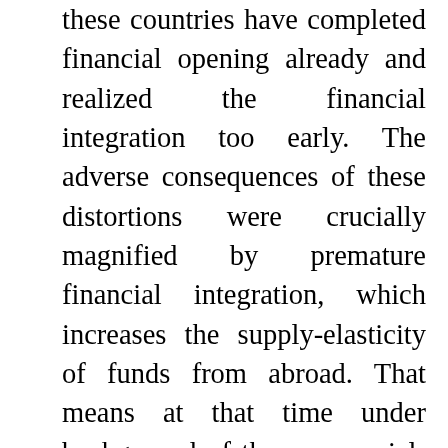these countries have completed financial opening already and realized the financial integration too early. The adverse consequences of these distortions were crucially magnified by premature financial integration, which increases the supply-elasticity of funds from abroad. That means at that time under background of the poor social-economic conditions, the marginal cost of financial opening is greater than marginal benefit. Because of the mismatch between low industrial structure and premature financial integration, together with distorted social-economic conditions, even though the international capital flowed into these countries, these capital could not enter to the real economy to promote domestic industrial structure but to enter the real